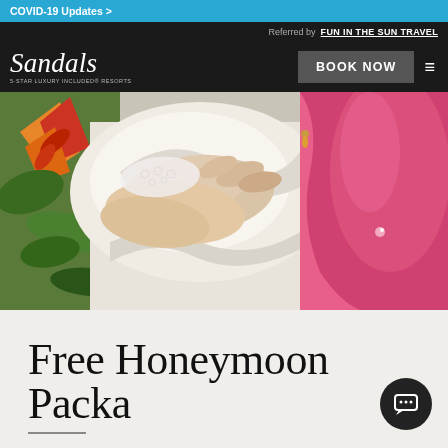COVID-19 Updates >
Referred by: FUN IN THE SUN TRAVEL
[Figure (logo): Sandals logo — cursive white text on dark background with tagline '5-STAR LUXURY INCLUDED® RESORTS']
BOOK NOW
[Figure (photo): Close-up photo of a couple's hands resting together on white fabric, surrounded by tropical flowers in red, orange, and green — a romantic honeymoon scene]
Free Honeymoon Packa…